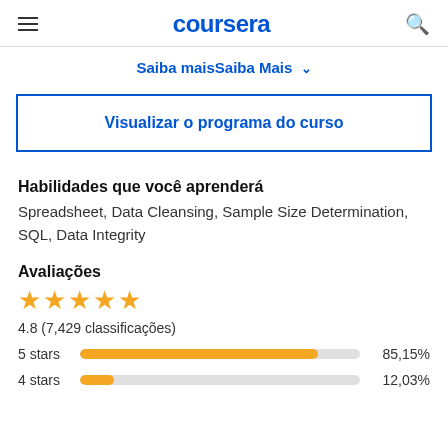coursera
Saiba maisSaiba Mais ▾
Visualizar o programa do curso
Habilidades que você aprenderá
Spreadsheet, Data Cleansing, Sample Size Determination, SQL, Data Integrity
Avaliações
4.8 (7,429 classificações)
5 stars 85,15%
4 stars 12,03%